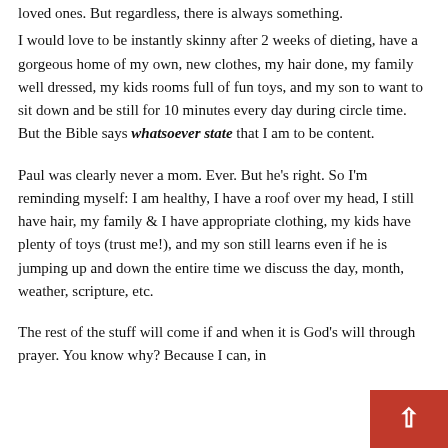loved ones. But regardless, there is always something.
I would love to be instantly skinny after 2 weeks of dieting, have a gorgeous home of my own, new clothes, my hair done, my family well dressed, my kids rooms full of fun toys, and my son to want to sit down and be still for 10 minutes every day during circle time. But the Bible says whatsoever state that I am to be content.
Paul was clearly never a mom. Ever. But he's right. So I'm reminding myself: I am healthy, I have a roof over my head, I still have hair, my family & I have appropriate clothing, my kids have plenty of toys (trust me!), and my son still learns even if he is jumping up and down the entire time we discuss the day, month, weather, scripture, etc.
The rest of the stuff will come if and when it is God's will through prayer. You know why? Because I can, in